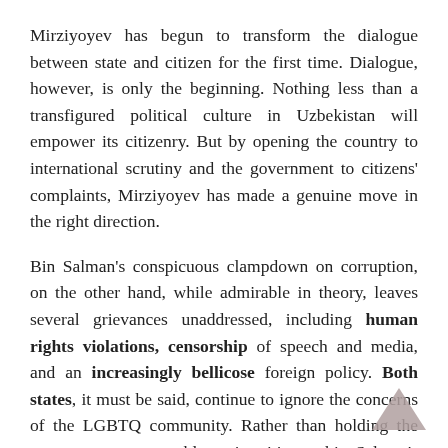Mirziyoyev has begun to transform the dialogue between state and citizen for the first time. Dialogue, however, is only the beginning. Nothing less than a transfigured political culture in Uzbekistan will empower its citizenry. But by opening the country to international scrutiny and the government to citizens' complaints, Mirziyoyev has made a genuine move in the right direction.
Bin Salman's conspicuous clampdown on corruption, on the other hand, while admirable in theory, leaves several grievances unaddressed, including human rights violations, censorship of speech and media, and an increasingly bellicose foreign policy. Both states, it must be said, continue to ignore the concerns of the LGBTQ community. Rather than holding the government accountable to its citizens, bin Salman's raft of reforms has failed to address the urgent need for civic engagement. And until a state opens the channel for communication between government and citizen, reforms may merely